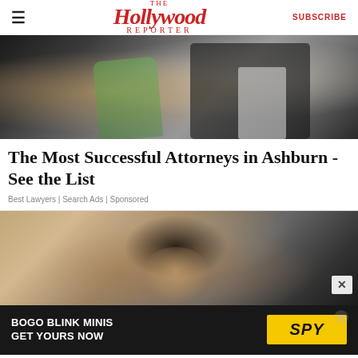≡   The Hollywood Reporter   SUBSCRIBE
[Figure (photo): A woman in a green halter dress and a man in a black tuxedo with bow tie at a formal event, paparazzi visible in background]
The Most Successful Attorneys in Ashburn - See the List
Best Lawyers | Search Ads | Sponsored
[Figure (photo): A woman with dark hair at an event, against a neutral background]
[Figure (infographic): Advertisement banner: BOGO BLINK MINIS GET YOURS NOW with SPY logo in yellow]